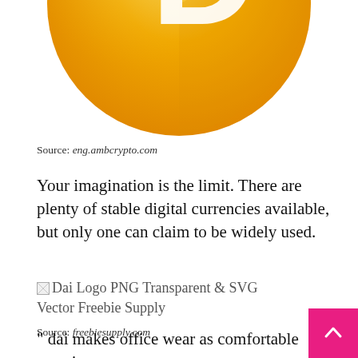[Figure (logo): Large gold/orange circular coin logo with a white 'D' letter on it (Dai cryptocurrency logo), partially visible, cropped at top]
Source: eng.ambcrypto.com
Your imagination is the limit. There are plenty of stable digital currencies available, but only one can claim to be widely used.
[Figure (logo): Broken image placeholder for 'Dai Logo PNG Transparent & SVG Vector Freebie Supply']
Source: freebiesupply.com
" dai makes office wear as comfortable as going to yoga